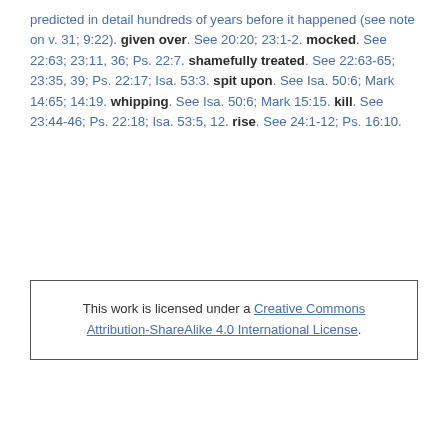predicted in detail hundreds of years before it happened (see note on v. 31; 9:22). given over. See 20:20; 23:1-2. mocked. See 22:63; 23:11, 36; Ps. 22:7. shamefully treated. See 22:63-65; 23:35, 39; Ps. 22:17; Isa. 53:3. spit upon. See Isa. 50:6; Mark 14:65; 14:19. whipping. See Isa. 50:6; Mark 15:15. kill. See 23:44-46; Ps. 22:18; Isa. 53:5, 12. rise. See 24:1-12; Ps. 16:10.
This work is licensed under a Creative Commons Attribution-ShareAlike 4.0 International License.